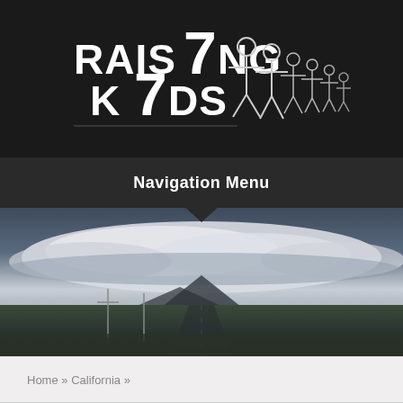[Figure (logo): Raising 7 Kids logo with stick figure family on dark background]
Navigation Menu
[Figure (photo): Desert landscape with dramatic cloudy sky and mountain in background]
Home » California »
Day 38 – Sam's Birthday Wish
By Michelle H... May 30, 2015 in Califor...